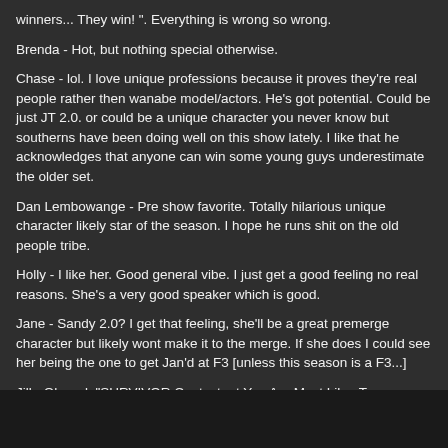winners... They win! ". Everything is wrong so wrong.
Brenda - Hot, but nothing special otherwise.
Chase - lol. I love unique professions because it proves they're real people rather then wanabe model/actors. He's got potential. Could be just JT 2.0. or could be a unique character you never know but southerns have been doing well on this show lately. I like that he acknowledges that anyone can win some young guys underestimate the older set.
Dan Lembowange - Pre show favorite. Totally hilarious unique character likely star of the season. I hope he runs shit on the old people tribe.
Holly - I like her. Good general vibe. I just get a good feeling no real reasons. She's a very good speaker which is good.
Jane - Sandy 2.0? I get that feeling, she'll be a great premerge character but likely wont make it to the merge. If she does I could see her being the one to get Jan'd at F3 [unless this season is a F3...]
Jill - Oh god. "SURVIVOR Contestant You Are Most Like: Tom Westman and Colby Donaldson because they are physically dominating and played with intelligence. " *facepalm*. Wow, yeah, you really look like a Tom or Colby. It's not even that you're female hun. If like... Jolanda from Palau said she'd be a Colby I'd be like RIGHT ON. She recognizes Jimmy Johnston